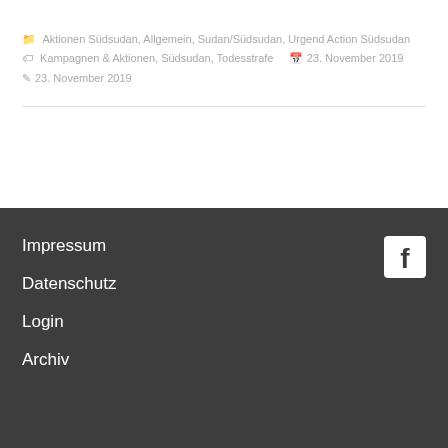Aktionen Südsudan, Allgemein, Sudan/Südsudan, Urgend Action Südsudan   Kampagnen & Aktionen, Südsudan, Todesstrafe   23. November 2019   23. November 2019
Impressum
Datenschutz
Login
Archiv